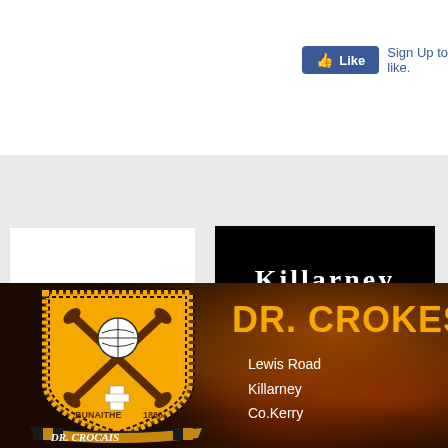[Figure (screenshot): Facebook Like button and Sign Up to like text in top white area]
[Figure (logo): Partial logo: LLY BROS. green and black text on white background]
[Figure (logo): Killarney Grand logo: white stylized serif text on black background]
[Figure (logo): Partial third logo partially visible on right edge]
[Figure (logo): Dr. Crokes GAA club banner with crest, fire background, and address: Lewis Road, Killarney, Co.Kerry]